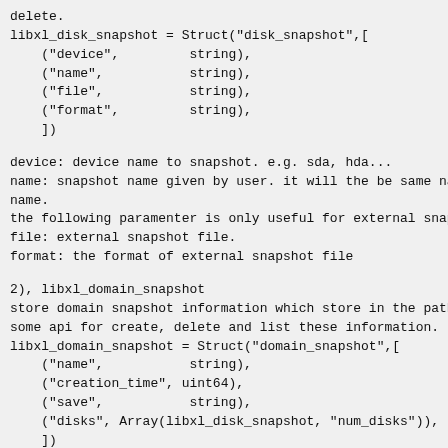delete.
libxl_disk_snapshot = Struct("disk_snapshot",[
    ("device",         string),
    ("name",           string),
    ("file",           string),
    ("format",         string),
    ])
device: device name to snapshot. e.g. sda, hda...
name: snapshot name given by user. it will the be same name as
name.
the following paramenter is only useful for external snapshot.
file: external snapshot file.
format: the format of external snapshot file
2), libxl_domain_snapshot
store domain snapshot information which store in the path show
some api for create, delete and list these information.
libxl_domain_snapshot = Struct("domain_snapshot",[
    ("name",           string),
    ("creation_time", uint64),
    ("save",           string),
    ("disks", Array(libxl_disk_snapshot, "num_disks")),
    ])